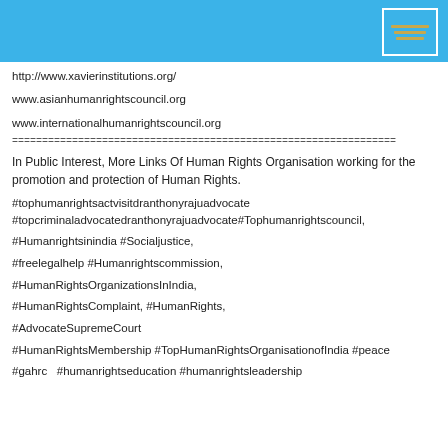http://www.xavierinstitutions.org/
www.asianhumanrightscouncil.org
www.internationalhumanrightscouncil.org
=============================================================
In Public Interest, More Links Of Human Rights Organisation working for the promotion and protection of Human Rights.
#tophumanrightsactvisitdranthonyrajuadvocate #topcriminaladvocatedranthonyrajuadvocate#Tophumanrightscouncil,
#Humanrightsinindia #Socialjustice,
#freelegalhelp #Humanrightscommission,
#HumanRightsOrganizationsInIndia,
#HumanRightsComplaint, #HumanRights,
#AdvocateSupremeCourt
#HumanRightsMembership #TopHumanRightsOrganisationofIndia #peace
#gahrc  #humanrightseducation #humanrightsleadership